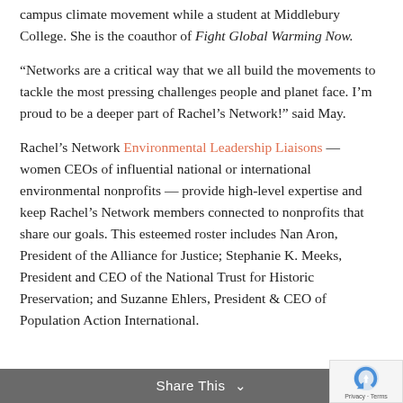Step It Up 2007 campaign, and was active in the campus climate movement while a student at Middlebury College. She is the coauthor of Fight Global Warming Now.
“Networks are a critical way that we all build the movements to tackle the most pressing challenges people and planet face. I’m proud to be a deeper part of Rachel’s Network!” said May.
Rachel’s Network Environmental Leadership Liaisons — women CEOs of influential national or international environmental nonprofits — provide high-level expertise and keep Rachel’s Network members connected to nonprofits that share our goals. This esteemed roster includes Nan Aron, President of the Alliance for Justice; Stephanie K. Meeks, President and CEO of the National Trust for Historic Preservation; and Suzanne Ehlers, President & CEO of Population Action International.
Share This